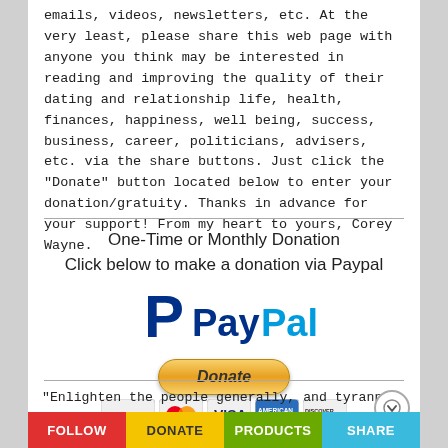emails, videos, newsletters, etc. At the very least, please share this web page with anyone you think may be interested in reading and improving the quality of their dating and relationship life, health, finances, happiness, well being, success, business, career, politicians, advisers, etc. via the share buttons. Just click the "Donate" button located below to enter your donation/gratuity. Thanks in advance for your support! From my heart to yours, Corey Wayne.
[Figure (other): PayPal donation section with PayPal logo, Donate button, and payment card logos (PayPal, MasterCard, Visa, American Express, Discover)]
"Enlighten the people generally, and tyranny, and oppressions of body and mind will vanish like evil spirits at the dawn of day."
FOLLOW | DONATE | PRODUCTS | SHARE